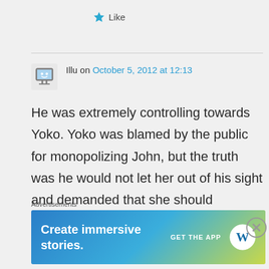Like
Illu on October 5, 2012 at 12:13
He was extremely controlling towards Yoko. Yoko was blamed by the public for monopolizing John, but the truth was he would not let her out of his sight and demanded that she should
Advertisements
[Figure (other): WordPress advertisement banner: 'Create immersive stories. GET THE APP' with WordPress logo]